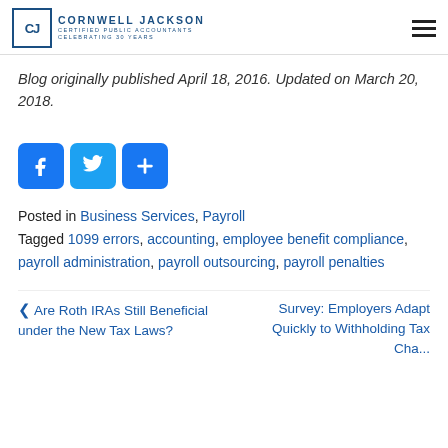CORNWELL JACKSON — Certified Public Accountants — Celebrating 30 Years
Blog originally published April 18, 2016. Updated on March 20, 2018.
[Figure (infographic): Social share buttons: Facebook (blue), Twitter (light blue), Share (blue plus icon)]
Posted in Business Services, Payroll
Tagged 1099 errors, accounting, employee benefit compliance, payroll administration, payroll outsourcing, payroll penalties
< Are Roth IRAs Still Beneficial under the New Tax Laws?   Survey: Employers Adapt Quickly to Withholding Tax Cha... >